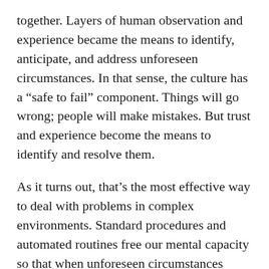together. Layers of human observation and experience became the means to identify, anticipate, and address unforeseen circumstances. In that sense, the culture has a “safe to fail” component. Things will go wrong; people will make mistakes. But trust and experience become the means to identify and resolve them.
As it turns out, that’s the most effective way to deal with problems in complex environments. Standard procedures and automated routines free our mental capacity so that when unforeseen circumstances arise, we can quickly identify and address them. That’s what made the Combat Information Center (CIC) and its successors effective: the artful integration of standard processes, technology, and human judgment. I worry that with the increasing emphasis on automated systems, we might be taking the